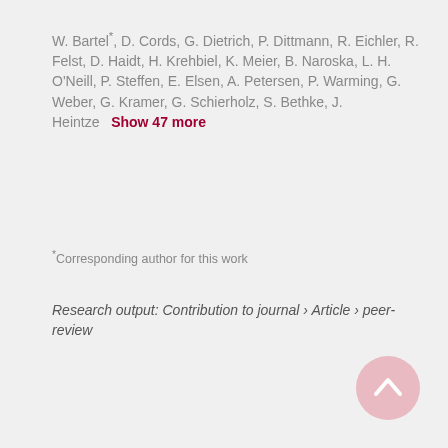W. Bartel*, D. Cords, G. Dietrich, P. Dittmann, R. Eichler, R. Felst, D. Haidt, H. Krehbiel, K. Meier, B. Naroska, L. H. O'Neill, P. Steffen, E. Elsen, A. Petersen, P. Warming, G. Weber, G. Kramer, G. Schierholz, S. Bethke, J. Heintze   Show 47 more
*Corresponding author for this work
Research output: Contribution to journal › Article › peer-review
31 Citations (Scopus)